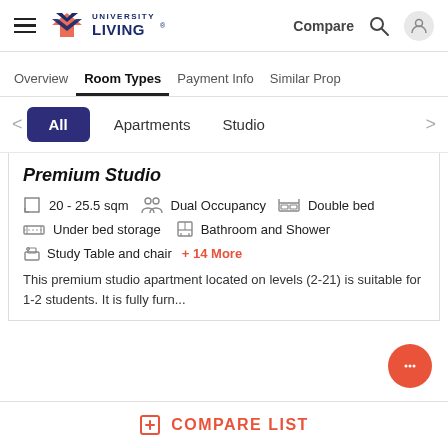University Living — Compare | Search | User
Overview   Room Types   Payment Info   Similar Prop
All   Apartments   Studio
Premium Studio
20 - 25.5 sqm   Dual Occupancy   Double bed
Under bed storage   Bathroom and Shower
Study Table and chair   + 14 More
This premium studio apartment located on levels (2-21) is suitable for 1-2 students. It is fully furn...
COMPARE LIST